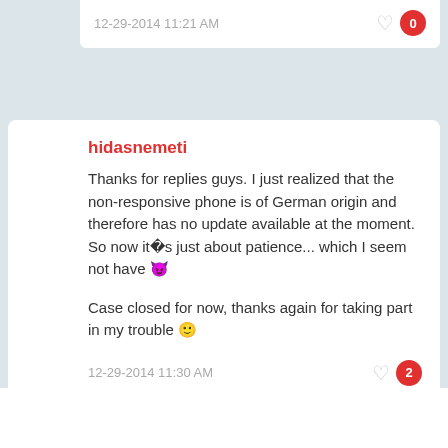12-29-2014 11:21 AM
hidasnemeti
Thanks for replies guys. I just realized that the non-responsive phone is of German origin and therefore has no update available at the moment. So now it�s just about patience... which I seem not have 😈

Case closed for now, thanks again for taking part in my trouble 😊
12-29-2014 11:30 AM